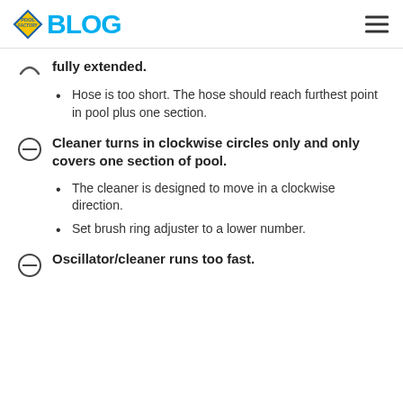BLOG
fully extended.
Hose is too short. The hose should reach furthest point in pool plus one section.
Cleaner turns in clockwise circles only and only covers one section of pool.
The cleaner is designed to move in a clockwise direction.
Set brush ring adjuster to a lower number.
Oscillator/cleaner runs too fast.